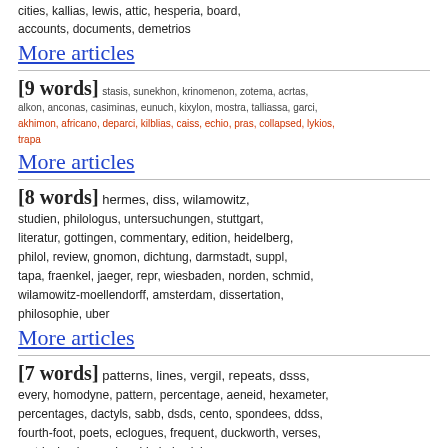cities, kallias, lewis, attic, hesperia, board, accounts, documents, demetrios
More articles
[9 words] stasis, sunekhon, krinomenon, zotema, acrtas, alkon, anconas, casiminas, eunuch, kixylon, mostra, talliassa, garci, akhimon, africano, deparci, kilblias, caiss, echio, pras, collapsed, lykios, trapa
More articles
[8 words] hermes, diss, wilamowitz, studien, philologus, untersuchungen, stuttgart, literatur, gottingen, commentary, edition, heidelberg, philol, review, gnomon, dichtung, darmstadt, suppl, tapa, fraenkel, jaeger, repr, wiesbaden, norden, schmid, wilamowitz-moellendorff, amsterdam, dissertation, philosophie, uber
More articles
[7 words] patterns, lines, vergil, repeats, dsss, every, homodyne, pattern, percentage, aeneid, hexameter, percentages, dactyls, sabb, dsds, cento, spondees, ddss, fourth-foot, poets, eclogues, frequent, duckworth, verses, metrical, sdss, proba, ddsd, dssd, horace
More articles